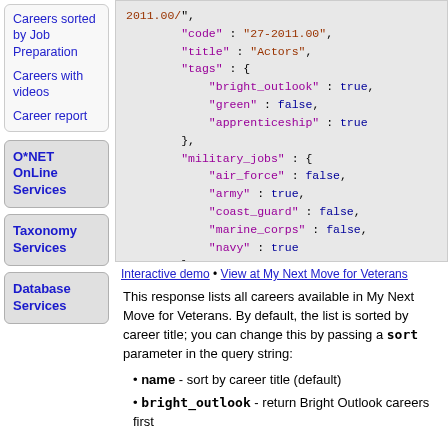Careers sorted by Job Preparation
Careers with videos
Career report
O*NET OnLine Services
Taxonomy Services
Database Services
2011.00/",
    "code" : "27-2011.00",
    "title" : "Actors",
    "tags" : {
        "bright_outlook" : true,
        "green" : false,
        "apprenticeship" : true
    },
    "military_jobs" : {
        "air_force" : false,
        "army" : true,
        "coast_guard" : false,
        "marine_corps" : false,
        "navy" : true
    }
},
...
]
}
Interactive demo • View at My Next Move for Veterans
This response lists all careers available in My Next Move for Veterans. By default, the list is sorted by career title; you can change this by passing a sort parameter in the query string:
name - sort by career title (default)
bright_outlook - return Bright Outlook careers first